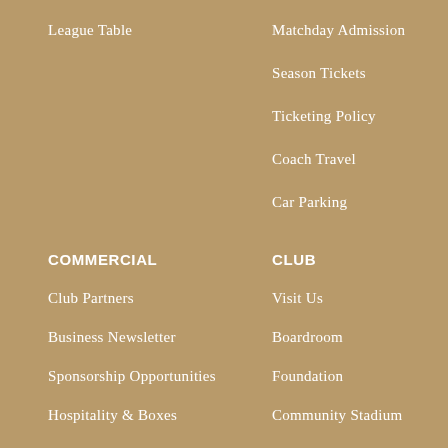League Table
Matchday Admission
Season Tickets
Ticketing Policy
Coach Travel
Car Parking
COMMERCIAL
CLUB
Club Partners
Visit Us
Business Newsletter
Boardroom
Sponsorship Opportunities
Foundation
Hospitality & Boxes
Community Stadium
Corporate Events
Policies
History